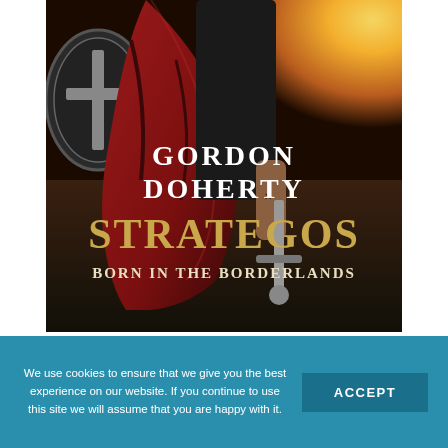[Figure (illustration): Book cover for 'Strategos: Born in the Borderlands' by Gordon Doherty. Shows a warrior figure in a red cape holding a sword, with a bright sunrise in the background. Title text in gold/white serif font.]
We use cookies to ensure that we give you the best experience on our website. If you continue to use this site we will assume that you are happy with it.